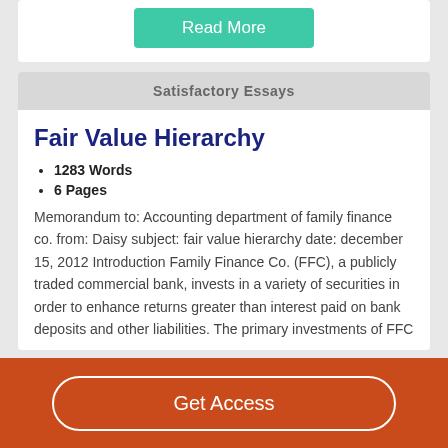[Figure (other): Green 'Read More' button at top of card]
Satisfactory Essays
Fair Value Hierarchy
1283 Words
6 Pages
Memorandum to: Accounting department of family finance co. from: Daisy subject: fair value hierarchy date: december 15, 2012 Introduction Family Finance Co. (FFC), a publicly traded commercial bank, invests in a variety of securities in order to enhance returns greater than interest paid on bank deposits and other liabilities. The primary investments of FFC
[Figure (other): Orange bottom bar with 'Get Access' button]